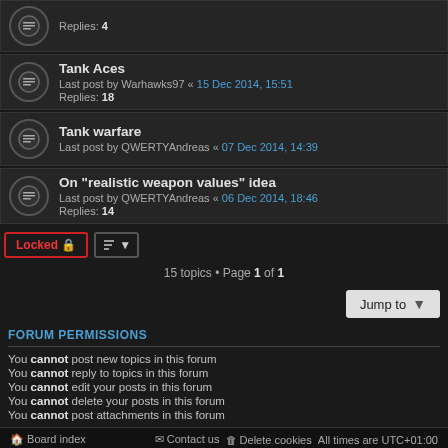Replies: 4
Tank Aces
Last post by Warhawks97 « 15 Dec 2014, 15:51
Replies: 18
Tank warfare
Last post by QWERTYAndreas « 07 Dec 2014, 14:39
On "realistic weapon values" idea
Last post by QWERTYAndreas « 06 Dec 2014, 18:46
Replies: 14
15 topics • Page 1 of 1
FORUM PERMISSIONS
You cannot post new topics in this forum
You cannot reply to topics in this forum
You cannot edit your posts in this forum
You cannot delete your posts in this forum
You cannot post attachments in this forum
Board index   Contact us   Delete cookies   All times are UTC+01:00
Powered by phpBB® Forum Software © phpBB Limited
Privacy | Terms